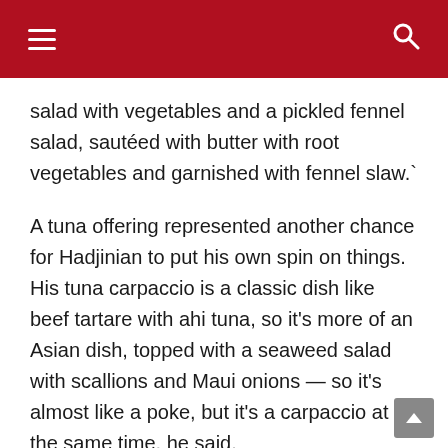[navigation bar with hamburger menu and search icon]
salad with vegetables and a pickled fennel salad, sautéed with butter with root vegetables and garnished with fennel slaw.`
A tuna offering represented another chance for Hadjinian to put his own spin on things. His tuna carpaccio is a classic dish like beef tartare with ahi tuna, so it's more of an Asian dish, topped with a seaweed salad with scallions and Maui onions — so it's almost like a poke, but it's a carpaccio at the same time, he said.
Hadjinian doesn't limit himself to a region when